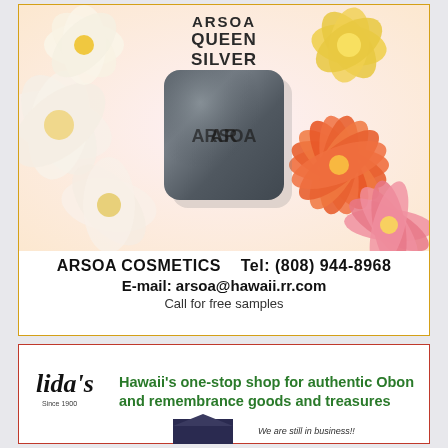[Figure (photo): Arsoa Queen Silver soap bar on floral background with white and orange flowers]
ARSOA COSMETICS    Tel: (808) 944-8968
E-mail: arsoa@hawaii.rr.com
Call for free samples
[Figure (illustration): Lida's store logo with Since 1900 text, and a building silhouette]
Hawaii's one-stop shop for authentic Obon and remembrance goods and treasures